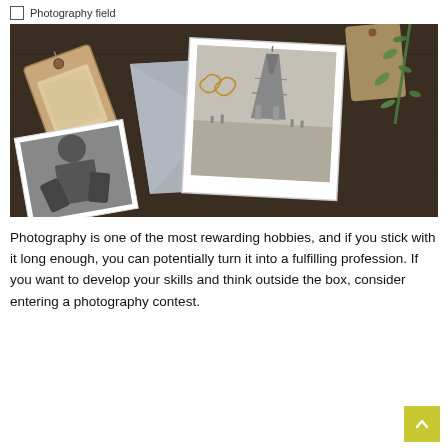Photography field
[Figure (photo): A flat-lay photograph showing vintage black-and-white photos scattered on a dark wooden surface, including a photo of the Eiffel Tower and a portrait photo, with an envelope, a luggage tag, paper clips, and green plant sprigs.]
Photography is one of the most rewarding hobbies, and if you stick with it long enough, you can potentially turn it into a fulfilling profession. If you want to develop your skills and think outside the box, consider entering a photography contest.